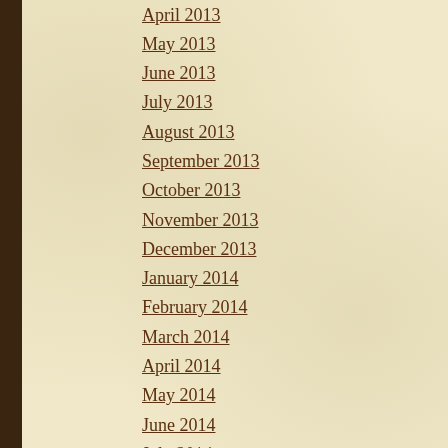April 2013
May 2013
June 2013
July 2013
August 2013
September 2013
October 2013
November 2013
December 2013
January 2014
February 2014
March 2014
April 2014
May 2014
June 2014
July 2014
August 2014
September 2014
October 2014
November 2014
December 2014
January 2015